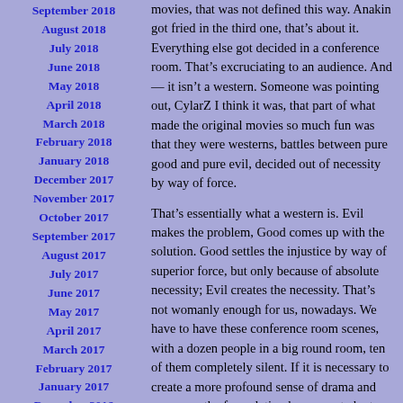September 2018
August 2018
July 2018
June 2018
May 2018
April 2018
March 2018
February 2018
January 2018
December 2017
November 2017
October 2017
September 2017
August 2017
July 2017
June 2017
May 2017
April 2017
March 2017
February 2017
January 2017
December 2016
November 2016
October 2016
September 2016
movies, that was not defined this way. Anakin got fried in the third one, that’s about it. Everything else got decided in a conference room. That’s excruciating to an audience. And — it isn’t a western. Someone was pointing out, CylarZ I think it was, that part of what made the original movies so much fun was that they were westerns, battles between pure good and pure evil, decided out of necessity by way of force.
That’s essentially what a western is. Evil makes the problem, Good comes up with the solution. Good settles the injustice by way of superior force, but only because of absolute necessity; Evil creates the necessity. That’s not womanly enough for us, nowadays. We have to have these conference room scenes, with a dozen people in a big round room, ten of them completely silent. If it is necessary to create a more profound sense of drama and suspense, the formulation has come to be to have more than a dozen. A thousand is better than a hundred, of course, and once you get into the thousands you rely on the magic of CGI. Great. Now you have actors, in rubber masks, gathered around enormous fancy tables in round rooms, delivering lines in front of CGI dopplegangers who